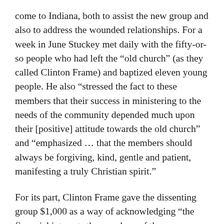come to Indiana, both to assist the new group and also to address the wounded relationships. For a week in June Stuckey met daily with the fifty-or-so people who had left the “old church” (as they called Clinton Frame) and baptized eleven young people. He also “stressed the fact to these members that their success in ministering to the needs of the community depended much upon their [positive] attitude towards the old church” and “emphasized … that the members should always be forgiving, kind, gentle and patient, manifesting a truly Christian spirit.”
For its part, Clinton Frame gave the dissenting group $1,000 as a way of acknowledging “the financial interests the members of the new congregation had in the old.” Later it was revealed that D. J. Johns, Clinton Frame’s younger bishop, had, at some personal financial cost, ensured the donation to the new group even though the progressive party included some